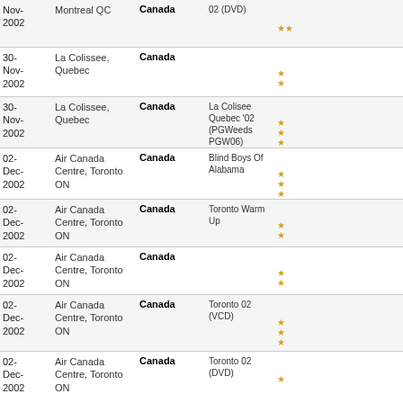| Date | Venue | Country | Title | Icons |
| --- | --- | --- | --- | --- |
| Nov-2002 | Montreal QC | Canada | 02 (DVD) | tape, stars, ticket, thumb |
| 30-Nov-2002 | La Colissee, Quebec | Canada |  | tape, stars, chat, thumb |
| 30-Nov-2002 | La Colissee, Quebec | Canada | La Colisee Quebec '02 (PGWeeds PGW06) | tape, stars, thumb |
| 02-Dec-2002 | Air Canada Centre, Toronto ON | Canada | Blind Boys Of Alabama | tape, stars, ticket, chat, thumb |
| 02-Dec-2002 | Air Canada Centre, Toronto ON | Canada | Toronto Warm Up | tape, stars, ticket, chat |
| 02-Dec-2002 | Air Canada Centre, Toronto ON | Canada |  | tape, stars, ticket, chat, thumb |
| 02-Dec-2002 | Air Canada Centre, Toronto ON | Canada | Toronto 02 (VCD) | vcd, stars, ticket, thumb |
| 02-Dec-2002 | Air Canada Centre, Toronto ON | Canada | Toronto 02 (DVD) | vcd, stars, ticket, chat, thumb |